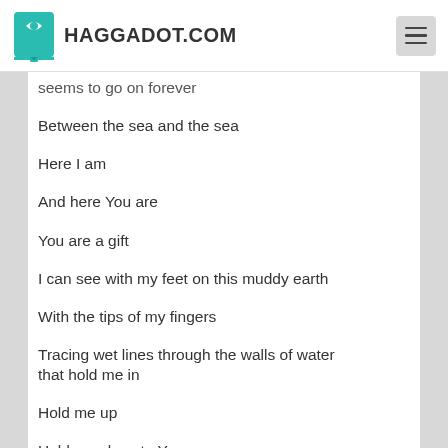HAGGADOT.COM
seems to go on forever
Between the sea and the sea
Here I am
And here You are
You are a gift
I can see with my feet on this muddy earth
With the tips of my fingers
Tracing wet lines through the walls of water that hold me in
Hold me up
Hold me close to You
You are here